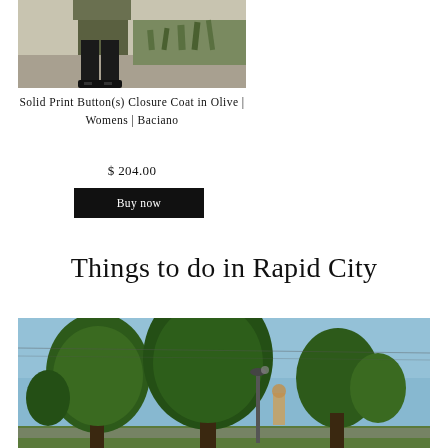[Figure (photo): Lower half of a person wearing an olive coat and black pants with black shoes, standing near ornamental grass, product photo for Baciano coat]
Solid Print Button(s) Closure Coat in Olive | Womens | Baciano
$ 204.00
Buy now
Things to do in Rapid City
[Figure (photo): Outdoor street scene with large green trees against a blue sky, with a street lamp and a figure visible, Rapid City travel content]